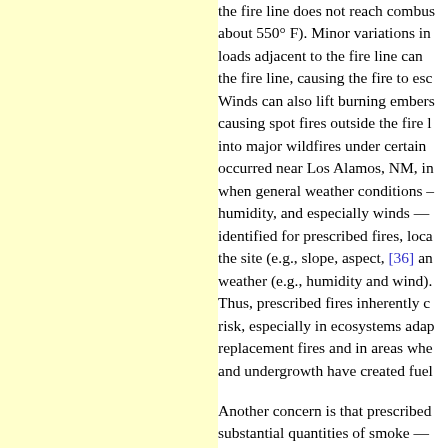the fire line does not reach combus about 550° F). Minor variations in loads adjacent to the fire line can the fire line, causing the fire to esc Winds can also lift burning embers causing spot fires outside the fire into major wildfires under certain occurred near Los Alamos, NM, in when general weather conditions - humidity, and especially winds — identified for prescribed fires, loca the site (e.g., slope, aspect, [36] a weather (e.g., humidity and wind) Thus, prescribed fires inherently c risk, especially in ecosystems adap replacement fires and in areas whe and undergrowth have created fuel
Another concern is that prescribed substantial quantities of smoke — high concentrations of carbon mo hydrocarbons, and especially parti visibility. Some assert that prescrib the timing of air pollution from wi that smoke from pre-industrial wil